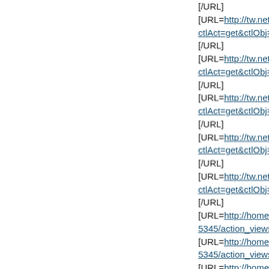[/URL]
[URL=http://tw.netsh.com/ede ctlAct=get&ctlObj=blog_log&i [/URL]
[URL=http://tw.netsh.com/ede ctlAct=get&ctlObj=blog_log&i [/URL]
[URL=http://tw.netsh.com/ede ctlAct=get&ctlObj=blog_log&i [/URL]
[URL=http://tw.netsh.com/ede ctlAct=get&ctlObj=blog_log&i [/URL]
[URL=http://tw.netsh.com/ede ctlAct=get&ctlObj=blog_log&i [/URL]
[URL=http://home.515j.net/? 5345/action_viewspace_item
[URL=http://home.515j.net/? 5345/action_viewspace_item
[URL=http://home.515j.net/? 5345/action_viewspace_item
[URL=http://home.515j.net/?